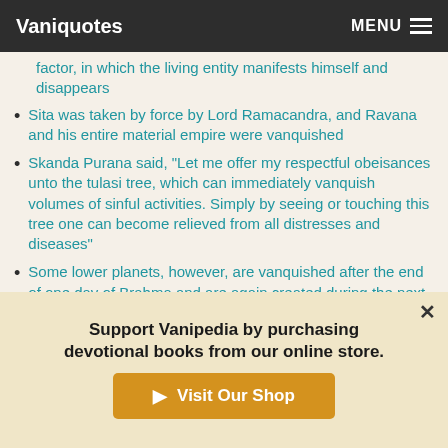Vaniquotes MENU
factor, in which the living entity manifests himself and disappears
Sita was taken by force by Lord Ramacandra, and Ravana and his entire material empire were vanquished
Skanda Purana said, "Let me offer my respectful obeisances unto the tulasi tree, which can immediately vanquish volumes of sinful activities. Simply by seeing or touching this tree one can become relieved from all distresses and diseases"
Some lower planets, however, are vanquished after the end of one day of Brahma and are again created during the next
Support Vanipedia by purchasing devotional books from our online store.
Visit Our Shop